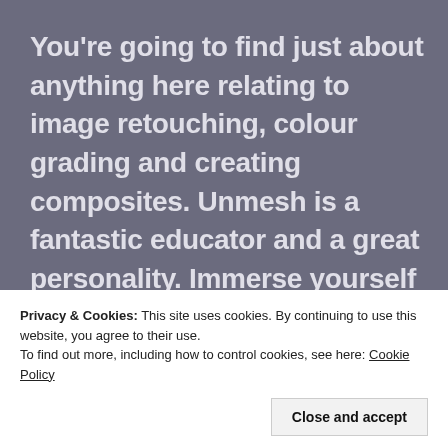You're going to find just about anything here relating to image retouching, colour grading and creating composites. Unmesh is a fantastic educator and a great personality. Immerse yourself in his channel and learn some new skills. I always think it's a good idea on days when you're not photographing to get stuck into some new editing tutorials. Every day's a school day around here!
Privacy & Cookies: This site uses cookies. By continuing to use this website, you agree to their use.
To find out more, including how to control cookies, see here: Cookie Policy
Close and accept
heard of.